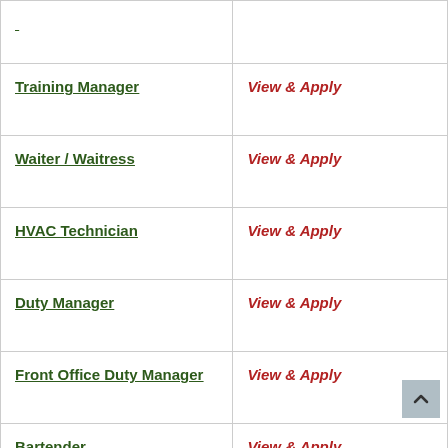| Job Title | Action |
| --- | --- |
|  |  |
| Training Manager | View & Apply |
| Waiter / Waitress | View & Apply |
| HVAC Technician | View & Apply |
| Duty Manager | View & Apply |
| Front Office Duty Manager | View & Apply |
| Bartender | View & Apply |
| Sr. Chef De Partie (Cold Kit | View & Apply |